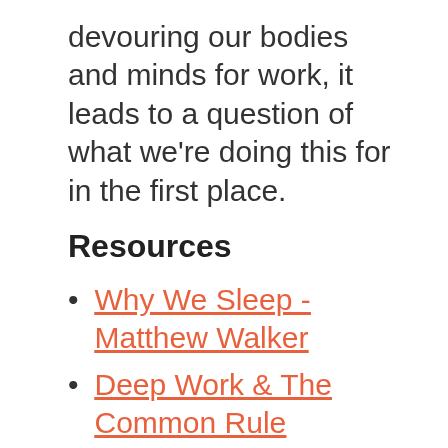devouring our bodies and minds for work, it leads to a question of what we're doing this for in the first place.
Resources
Why We Sleep - Matthew Walker
Deep Work & The Common Rule
8. Business Awareness
Do you know what your